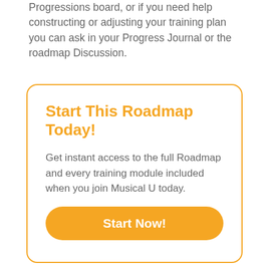Progressions board, or if you need help constructing or adjusting your training plan you can ask in your Progress Journal or the roadmap Discussion.
Start This Roadmap Today!
Get instant access to the full Roadmap and every training module included when you join Musical U today.
Start Now!